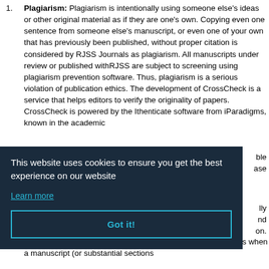Plagiarism: Plagiarism is intentionally using someone else's ideas or other original material as if they are one's own. Copying even one sentence from someone else's manuscript, or even one of your own that has previously been published, without proper citation is considered by RJSS Journals as plagiarism. All manuscripts under review or published withRJSS are subject to screening using plagiarism prevention software. Thus, plagiarism is a serious violation of publication ethics. The development of CrossCheck is a service that helps editors to verify the originality of papers. CrossCheck is powered by the Ithenticate software from iParadigms, known in the academic [world as Turnitin. Manuscripts that are found to be responsible for...] [se]
[partially obscured] ...ally ...nd ...on.
Simultaneous Submission: Simultaneous Submission occurs when a manuscript (or substantial sections...
This website uses cookies to ensure you get the best experience on our website
Learn more
Got it!